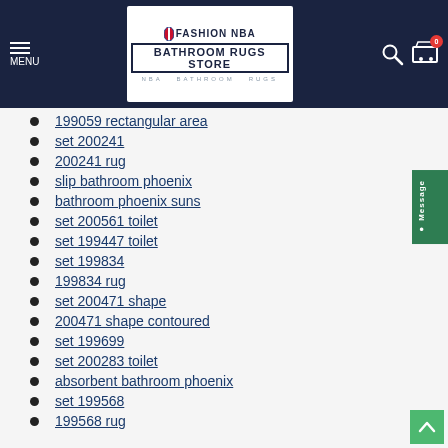FASHION NBA BATHROOM RUGS STORE - NBA BATHROOM RUGS
199059 rectangular area
set 200241
200241 rug
slip bathroom phoenix
bathroom phoenix suns
set 200561 toilet
set 199447 toilet
set 199834
199834 rug
set 200471 shape
200471 shape contoured
set 199699
set 200283 toilet
absorbent bathroom phoenix
set 199568
199568 rug
set 199490 contour
nba portland trail